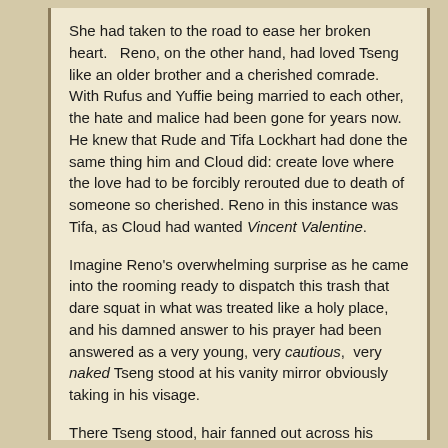She had taken to the road to ease her broken heart.   Reno, on the other hand, had loved Tseng like an older brother and a cherished comrade.   With Rufus and Yuffie being married to each other, the hate and malice had been gone for years now. He knew that Rude and Tifa Lockhart had done the same thing him and Cloud did: create love where the love had to be forcibly rerouted due to death of someone so cherished. Reno in this instance was Tifa, as Cloud had wanted Vincent Valentine.
Imagine Reno's overwhelming surprise as he came into the rooming ready to dispatch this trash that dare squat in what was treated like a holy place, and his damned answer to his prayer had been answered as a very young, very cautious,  very  naked Tseng stood at his vanity mirror obviously taking in his visage.
There Tseng stood, hair fanned out across his chest and shoulders, even down to the tilak in the middle of his forehead.
“Motherfucker…” Reno trailed off intelligently.